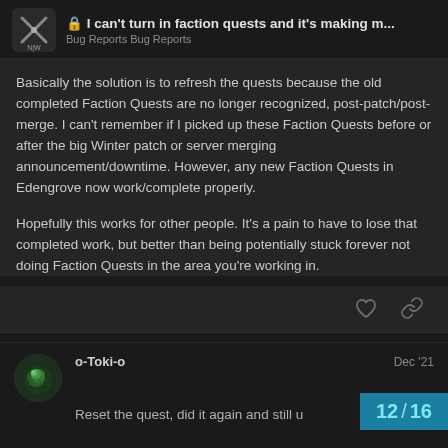🔒 I can't turn in faction quests and it's making m… | Bug Reports  Bug Reports
Basically the solution is to refresh the quests because the old completed Faction Quests are no longer recognized, post-patch/post-merge. I can't remember if I picked up these Faction Quests before or after the big Winter patch or server merging announcement/downtime. However, any new Faction Quests in Edengrove now work/complete properly.

Hopefully this works for other people. It's a pain to have to lose that completed work, but better than being potentially stuck forever not doing Faction Quests in the area you're working in.
o-Toki-o   Dec '21
Reset the quest, did it again and still u